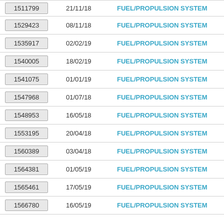| ID | Date | Category |
| --- | --- | --- |
| 1511799 | 21/11/18 | FUEL/PROPULSION SYSTEM |
| 1529423 | 08/11/18 | FUEL/PROPULSION SYSTEM |
| 1535917 | 02/02/19 | FUEL/PROPULSION SYSTEM |
| 1540005 | 18/02/19 | FUEL/PROPULSION SYSTEM |
| 1541075 | 01/01/19 | FUEL/PROPULSION SYSTEM |
| 1547968 | 01/07/18 | FUEL/PROPULSION SYSTEM |
| 1548953 | 16/05/18 | FUEL/PROPULSION SYSTEM |
| 1553195 | 20/04/18 | FUEL/PROPULSION SYSTEM |
| 1560389 | 03/04/18 | FUEL/PROPULSION SYSTEM |
| 1564381 | 01/05/19 | FUEL/PROPULSION SYSTEM |
| 1565461 | 17/05/19 | FUEL/PROPULSION SYSTEM |
| 1566780 | 16/05/19 | FUEL/PROPULSION SYSTEM |